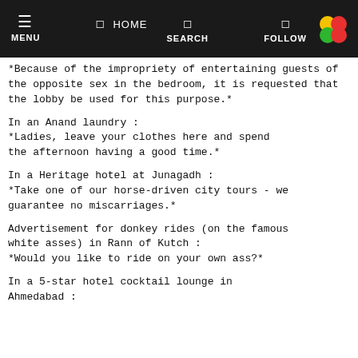MENU  HOME  SEARCH  FOLLOW
*Because of the impropriety of entertaining guests of the opposite sex in the bedroom, it is requested that the lobby be used for this purpose.*
In an Anand laundry :
*Ladies, leave your clothes here and spend the afternoon having a good time.*
In a Heritage hotel at Junagadh :
*Take one of our horse-driven city tours - we guarantee no miscarriages.*
Advertisement for donkey rides (on the famous white asses) in Rann of Kutch :
*Would you like to ride on your own ass?*
In a 5-star hotel cocktail lounge in Ahmedabad :